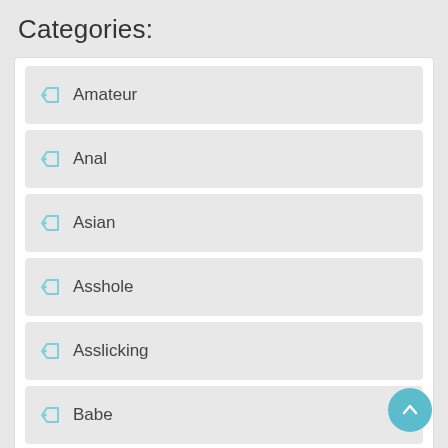Categories:
Amateur
Anal
Asian
Asshole
Asslicking
Babe
Ball Licking
BBC